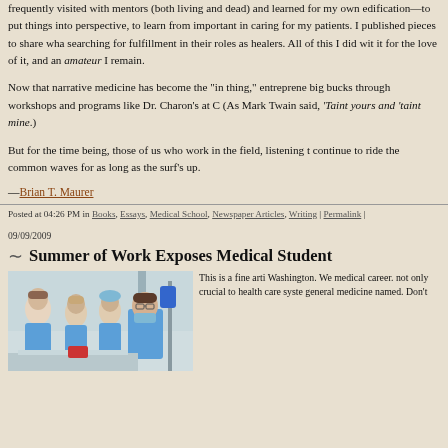frequently visited with mentors (both living and dead) and learned for my own edification—to put things into perspective, to learn from important in caring for my patients. I published pieces to share what searching for fulfillment in their roles as healers. All of this I did with it for the love of it, and an amateur I remain.
Now that narrative medicine has become the "in thing," entrepreneurs big bucks through workshops and programs like Dr. Charon's at C (As Mark Twain said, 'Taint yours and 'taint mine.)
But for the time being, those of us who work in the field, listening to continue to ride the common waves for as long as the surf's up.
—Brian T. Maurer
Posted at 04:26 PM in Books, Essays, Medical School, Newspaper Articles, Writing | Permalink |
09/09/2009
Summer of Work Exposes Medical Student
[Figure (photo): Medical students and professionals in blue scrubs in a clinical/operating room setting]
This is a fine arti Washington. We medical career. not only crucial to health care syste general medicine named. Don't